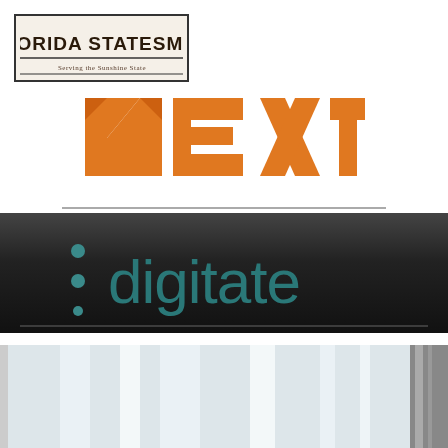[Figure (logo): Florida Statesman newspaper logo with 'FLORIDA STATESMAN' in dark brown/black bold serif font and tagline 'Serving the Sunshine State' in smaller text, inside a bordered box]
[Figure (logo): NEXT logo in orange geometric block letters with orange triangle/arrow shapes forming the letters, bold modern design]
[Figure (logo): digitate logo on dark gradient background (black to gray), with colon-dot pattern and ':digitate' text in teal/dark cyan color]
[Figure (photo): Bottom portion showing what appears to be a bright interior space with vertical light elements, partially cropped]